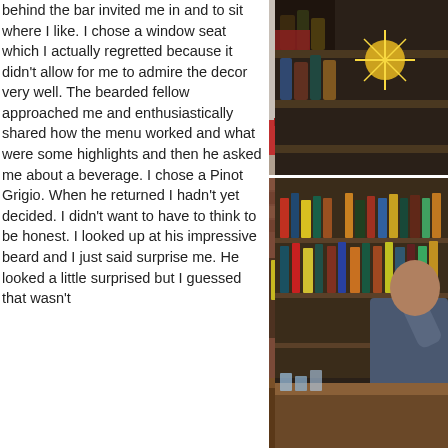behind the bar invited me in and to sit where I like. I chose a window seat which I actually regretted because it didn't allow for me to admire the decor very well. The bearded fellow approached me and enthusiastically shared how the menu worked and what were some highlights and then he asked me about a beverage. I chose a Pinot Grigio. When he returned I hadn't yet decided. I didn't want to have to think to be honest. I looked up at his impressive beard and I just said surprise me. He looked a little surprised but I guessed that wasn't
[Figure (photo): Interior of a restaurant/bar with wooden chairs and red checkered tablecloths, a chalkboard on the wall, natural light coming through a window]
[Figure (photo): Close-up of decorative items on a bar shelf, possibly bottles and ornaments with bright lighting]
[Figure (photo): A bearded man with glasses standing behind a bar stocked with many bottles of spirits]
[Figure (photo): A person gesturing behind a bar stocked with many bottles of spirits]